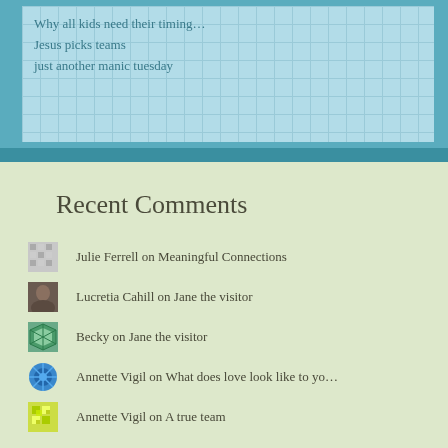Why all kids need their timing…
Jesus picks teams
just another manic tuesday
Recent Comments
Julie Ferrell on Meaningful Connections
Lucretia Cahill on Jane the visitor
Becky on Jane the visitor
Annette Vigil on What does love look like to yo…
Annette Vigil on A true team